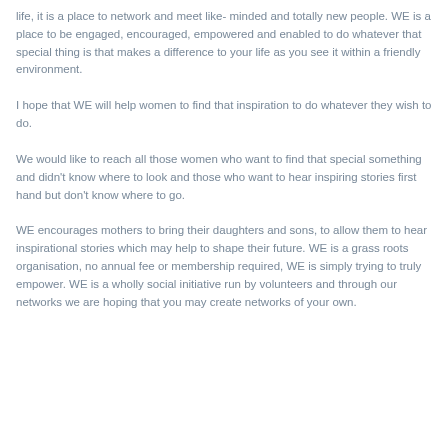life, it is a place to network and meet like- minded and totally new people. WE is a place to be engaged, encouraged, empowered and enabled to do whatever that special thing is that makes a difference to your life as you see it within a friendly environment.
I hope that WE will help women to find that inspiration to do whatever they wish to do.
We would like to reach all those women who want to find that special something and didn't know where to look and those who want to hear inspiring stories first hand but don't know where to go.
WE encourages mothers to bring their daughters and sons, to allow them to hear inspirational stories which may help to shape their future. WE is a grass roots organisation, no annual fee or membership required, WE is simply trying to truly empower. WE is a wholly social initiative run by volunteers and through our networks we are hoping that you may create networks of your own.